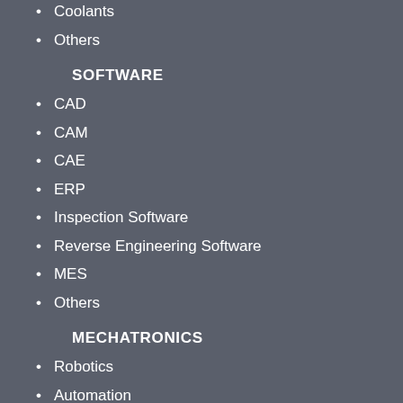Coolants
Others
SOFTWARE
CAD
CAM
CAE
ERP
Inspection Software
Reverse Engineering Software
MES
Others
MECHATRONICS
Robotics
Automation
CNC Controllers
Others
CUTTING TOOLS
Turning Tools